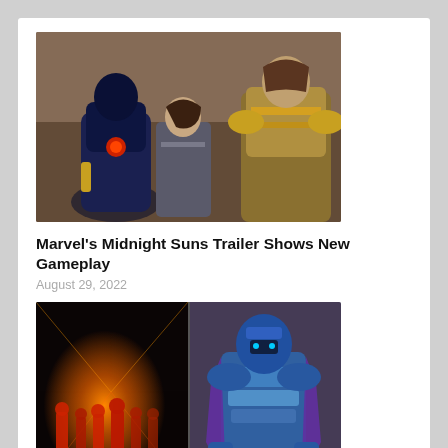[Figure (photo): Game screenshot from Marvel's Midnight Suns showing heroic characters in armored costumes standing together]
Marvel's Midnight Suns Trailer Shows New Gameplay
August 29, 2022
[Figure (photo): Composite image showing a group of red-silhouetted figures in a glowing orange corridor (left) and a heavily armored blue/silver warrior character (right) from Destiny 2]
Destiny 2: How to complete the Warpriest encounter in King's Fall Raid
August 27, 2022
[Figure (photo): Partially visible game screenshot at bottom of page]